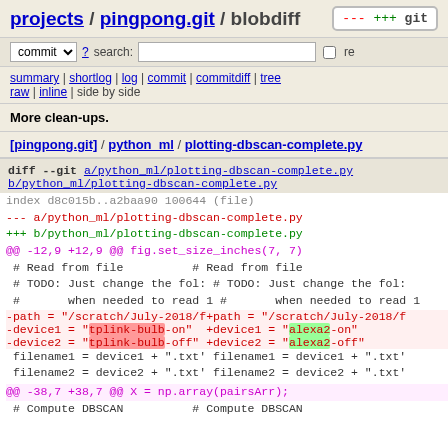projects / pingpong.git / blobdiff
commit ? search: re
summary | shortlog | log | commit | commitdiff | tree
raw | inline | side by side
More clean-ups.
[pingpong.git] / python_ml / plotting-dbscan-complete.py
[Figure (screenshot): Git diff view showing changes to plotting-dbscan-complete.py including diff headers, removed/added lines with highlighted tplink-bulb vs alexa2 changes, and hunk markers.]